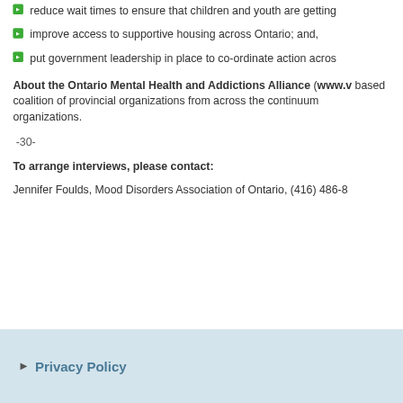reduce wait times to ensure that children and youth are getting...
improve access to supportive housing across Ontario; and,
put government leadership in place to co-ordinate action acros...
About the Ontario Mental Health and Addictions Alliance (www.v... based coalition of provincial organizations from across the continuum... organizations.
-30-
To arrange interviews, please contact:
Jennifer Foulds, Mood Disorders Association of Ontario, (416) 486-8...
Privacy Policy